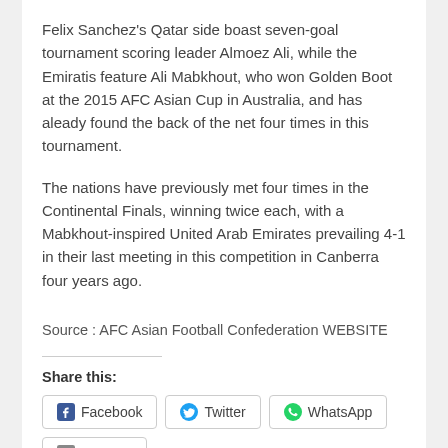Felix Sanchez's Qatar side boast seven-goal tournament scoring leader Almoez Ali, while the Emiratis feature Ali Mabkhout, who won Golden Boot at the 2015 AFC Asian Cup in Australia, and has aleady found the back of the net four times in this tournament.
The nations have previously met four times in the Continental Finals, winning twice each, with a Mabkhout-inspired United Arab Emirates prevailing 4-1 in their last meeting in this competition in Canberra four years ago.
Source : AFC Asian Football Confederation WEBSITE
Share this:
Facebook
Twitter
WhatsApp
Imprimir